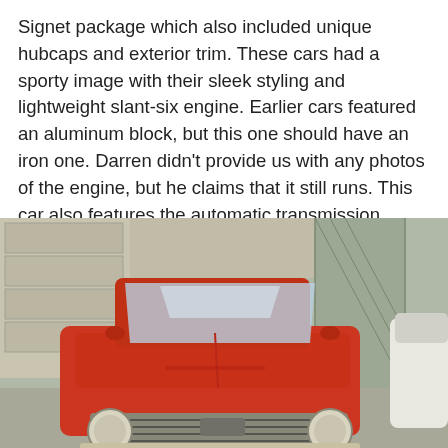Signet package which also included unique hubcaps and exterior trim. These cars had a sporty image with their sleek styling and lightweight slant-six engine. Earlier cars featured an aluminum block, but this one should have an iron one. Darren didn't provide us with any photos of the engine, but he claims that it still runs. This car also features the automatic transmission which was controlled with cool push buttons on the dash.
[Figure (photo): Front view of a red vintage compact car (likely a Dodge Lancer or similar early 1960s vehicle) parked in a driveway next to a garage and chain-link fence, photographed from a slightly elevated front angle. A white car is partially visible on the right edge.]